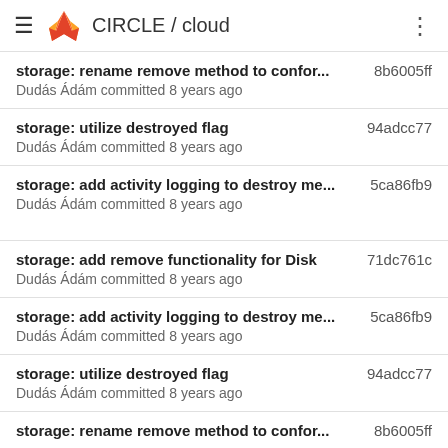CIRCLE / cloud
storage: rename remove method to confor... 8b6005ff
Dudás Ádám committed 8 years ago
storage: utilize destroyed flag 94adcc77
Dudás Ádám committed 8 years ago
storage: add activity logging to destroy me... 5ca86fb9
Dudás Ádám committed 8 years ago
storage: add remove functionality for Disk 71dc761c
Dudás Ádám committed 8 years ago
storage: add activity logging to destroy me... 5ca86fb9
Dudás Ádám committed 8 years ago
storage: utilize destroyed flag 94adcc77
Dudás Ádám committed 8 years ago
storage: rename remove method to confor... 8b6005ff
Dudás Ádám committed 8 years ago